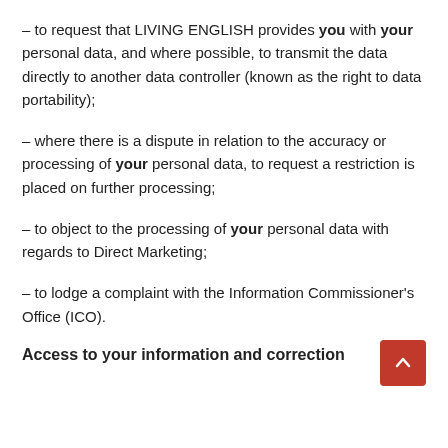– to request that LIVING ENGLISH provides you with your personal data, and where possible, to transmit the data directly to another data controller (known as the right to data portability);
– where there is a dispute in relation to the accuracy or processing of your personal data, to request a restriction is placed on further processing;
– to object to the processing of your personal data with regards to Direct Marketing;
– to lodge a complaint with the Information Commissioner's Office (ICO).
Access to your information and correction